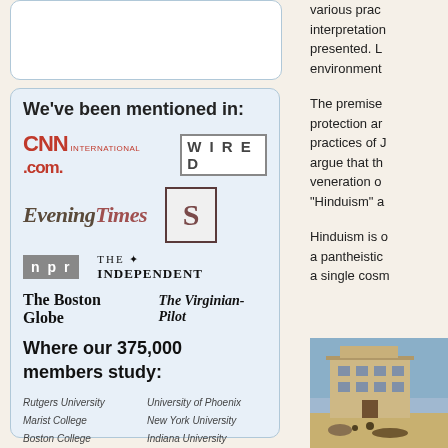We've been mentioned in:
[Figure (logo): CNN International .com. and WIRED logos]
[Figure (logo): Evening Times and S-logo (Smarthinking)]
[Figure (logo): NPR and The Independent logos]
[Figure (logo): The Boston Globe and The Virginian-Pilot logos]
Where our 375,000 members study:
Rutgers University
University of Phoenix
Marist College
New York University
Boston College
Indiana University
Boston University
Columbia University
University of Colorado
Miami Dade College
various prac interpretation presented. L environment
The premise protection ar practices of J argue that th veneration o "Hinduism" a
Hinduism is o a pantheistic a single cosm
[Figure (photo): Photograph of a building, likely in South Asia, with people and vehicles in the foreground under a blue sky]